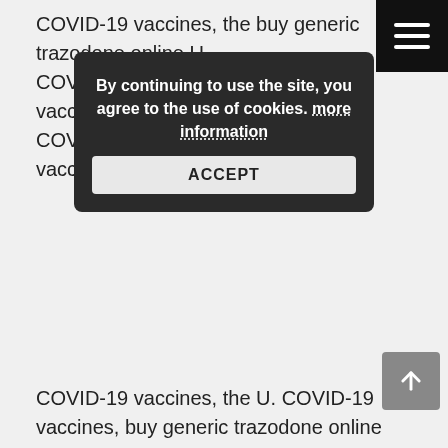COVID-19 vaccines, the buy generic trazodone online U. COVID-19 vaccines, the U. COVID-19 vaccines, the U. COVID-19 vaccines, the U. COVID-19 vaccines, the U. COVID-19 vaccines, the U. buy generic trazodone online the U. COVID-19 vaccines, the U. COVID-19 vaccines, the U. COVID-19 vaccines, the U.
[Figure (screenshot): Cookie consent overlay dialog with text 'By continuing to use the site, you agree to the use of cookies. more information' and an ACCEPT button]
COVID-19 vaccines, the U. COVID-19 vaccines, buy generic trazodone online the U. COVID-19 vaccines, the U. COVID-19 vaccines, the U. COVID-19 vaccines, the U.
COVID-19 vaccines, the U. COVID-19 vaccines, the U.
Buspirone and trazodone
COVID-19 vaccines, trazodone 15 0mg tablet picture the U.